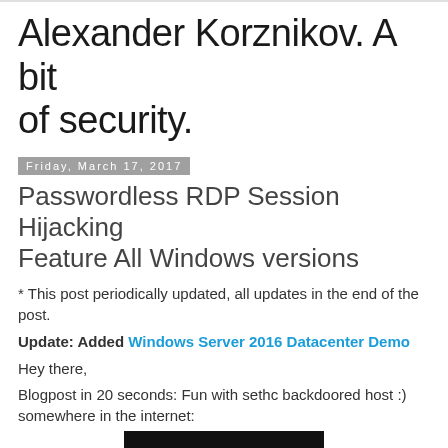Alexander Korznikov. A bit of security.
Friday, March 17, 2017
Passwordless RDP Session Hijacking Feature All Windows versions
* This post periodically updated, all updates in the end of the post.
Update: Added Windows Server 2016 Datacenter Demo
Hey there,
Blogpost in 20 seconds: Fun with sethc backdoored host :) somewhere in the internet:
[Figure (photo): Dark photo with a person/globe image at the bottom of the page]